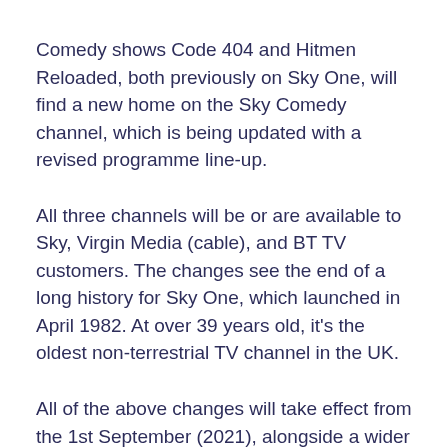Comedy shows Code 404 and Hitmen Reloaded, both previously on Sky One, will find a new home on the Sky Comedy channel, which is being updated with a revised programme line-up.
All three channels will be or are available to Sky, Virgin Media (cable), and BT TV customers. The changes see the end of a long history for Sky One, which launched in April 1982. At over 39 years old, it's the oldest non-terrestrial TV channel in the UK.
All of the above changes will take effect from the 1st September (2021), alongside a wider reshuffle of channel number/EPG allocations. Additionally, NBCUniversal's new Peacock streaming service